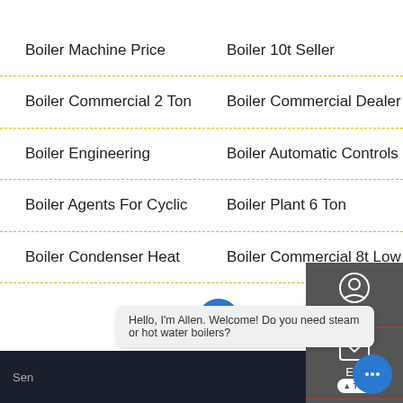Boiler Machine Price
Boiler 10t Seller
Boiler Commercial 2 Ton
Boiler Commercial Dealer
Boiler Engineering
Boiler Automatic Controls
Boiler Agents For Cyclic
Boiler Plant 6 Ton
Boiler Condenser Heat
Boiler Commercial 8t Low
Hello, I'm Allen. Welcome! Do you need steam or hot water boilers?
Send ... line